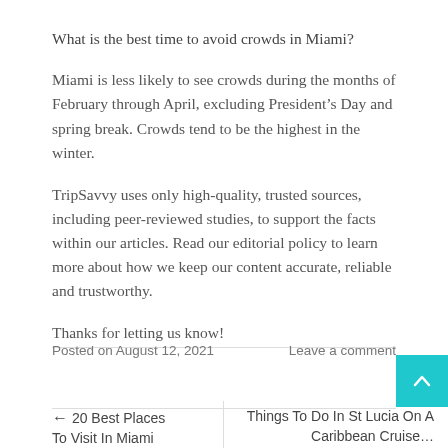What is the best time to avoid crowds in Miami?
Miami is less likely to see crowds during the months of February through April, excluding President’s Day and spring break. Crowds tend to be the highest in the winter.
TripSavvy uses only high-quality, trusted sources, including peer-reviewed studies, to support the facts within our articles. Read our editorial policy to learn more about how we keep our content accurate, reliable and trustworthy.
Thanks for letting us know!
Posted on August 12, 2021   Leave a comment
← 20 Best Places To Visit In Miami Florida ...
Things To Do In St Lucia On A Caribbean Cruise ...